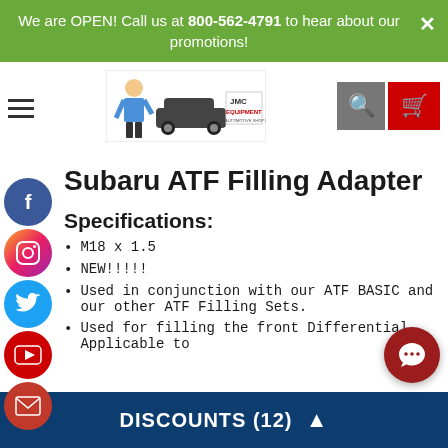We are OPEN! Call us at 800-562-4791 to hear about our promotions!
[Figure (logo): JMC Equipment logo with cartoon mechanic and car]
Subaru ATF Filling Adapter
Specifications:
M18 x 1.5
NEW!!!!!
Used in conjunction with our ATF BASIC and our other ATF Filling Sets.
Used for filling the front Differential. Applicable to
DISCOUNTS (12)